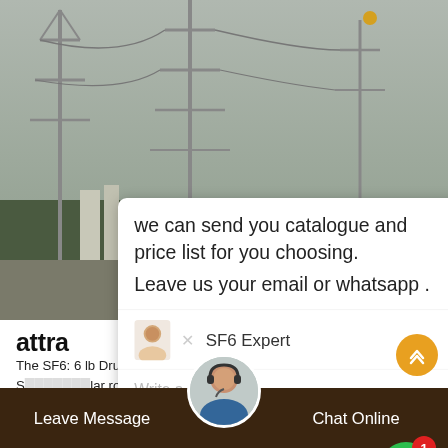[Figure (photo): Outdoor industrial/electrical substation scene with towers and cables in a grey overcast sky]
we can send you catalogue and price list for you choosing.
Leave us your email or whatsapp .
SF6 Expert    just now
Write a reply..
6China
attra  hine
The SF6: 6 lb Drum Small Batch Coffee Roaster. The SF6 is one of the S          lar roasters. Due to its robust platform which roasts from 2.2 pounds (1 kg) to 6.6 pounds (3 kg) of green coffee per batch, the SF6 is perfect for cafes and coffee houses.
Leave Message
Chat Online